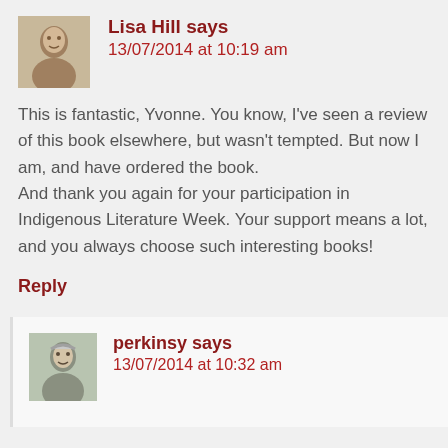[Figure (photo): Small black and white avatar photo of Lisa Hill, a child, in a square thumbnail]
Lisa Hill says
13/07/2014 at 10:19 am
This is fantastic, Yvonne. You know, I've seen a review of this book elsewhere, but wasn't tempted. But now I am, and have ordered the book.
And thank you again for your participation in Indigenous Literature Week. Your support means a lot, and you always choose such interesting books!
Reply
[Figure (photo): Small color avatar photo of perkinsy, an older woman with grey hair]
perkinsy says
13/07/2014 at 10:32 am